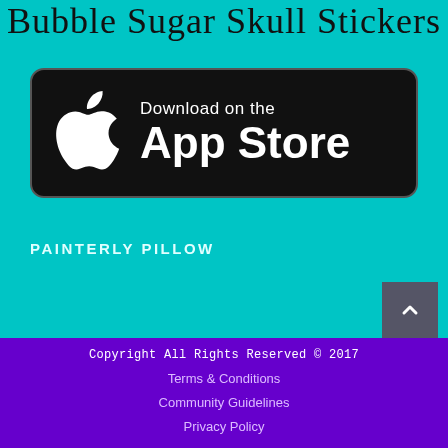Bubble Sugar Skull Stickers
[Figure (logo): Download on the App Store badge — black rounded rectangle with Apple logo and 'Download on the App Store' text in white]
PAINTERLY PILLOW
Copyright All Rights Reserved © 2017
Terms & Conditions
Community Guidelines
Privacy Policy